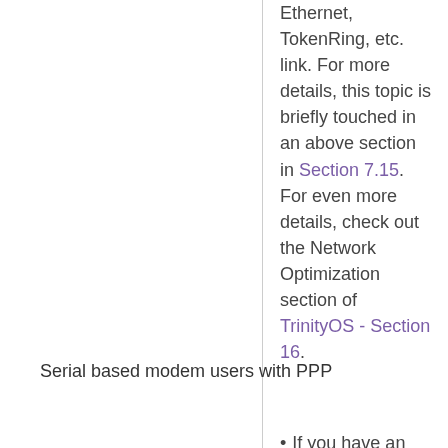Ethernet, TokenRing, etc. link. For more details, this topic is briefly touched in an above section in Section 7.15. For even more details, check out the Network Optimization section of TrinityOS - Section 16.
Serial based modem users with PPP
If you have an external modem, make sure you have a good serial cable.